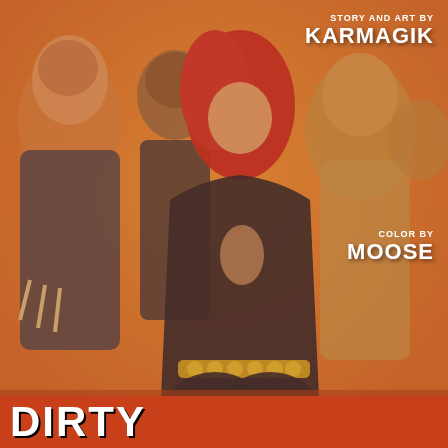[Figure (illustration): Comic book style cover art showing a red-haired woman in a black bodysuit with gold belt, viewed from behind, surrounded by several men in various outfits against a warm yellow-orange background.]
STORY AND ART BY
KARMAGIK
COLOR BY
MOOSE
DIRTY